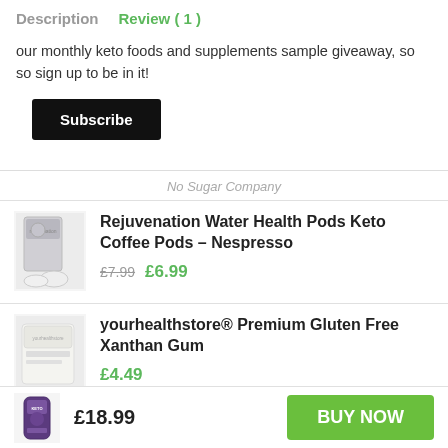Description   Review ( 1 )
our monthly keto foods and supplements sample giveaway, so so sign up to be in it!
Subscribe
No Sugar Company
Rejuvenation Water Health Pods Keto Coffee Pods – Nespresso £7.99 £6.99
yourhealthstore® Premium Gluten Free Xanthan Gum £4.49
£18.99  BUY NOW